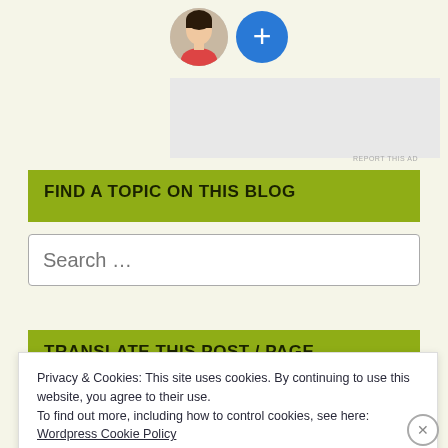[Figure (photo): A woman's headshot avatar circle with a blue plus circle button beside it, and a grey ad placeholder below]
FIND A TOPIC ON THIS BLOG
Search …
TRANSLATE THIS POST / PAGE
Privacy & Cookies: This site uses cookies. By continuing to use this website, you agree to their use.
To find out more, including how to control cookies, see here:
Wordpress Cookie Policy
CLOSE & ACCEPT